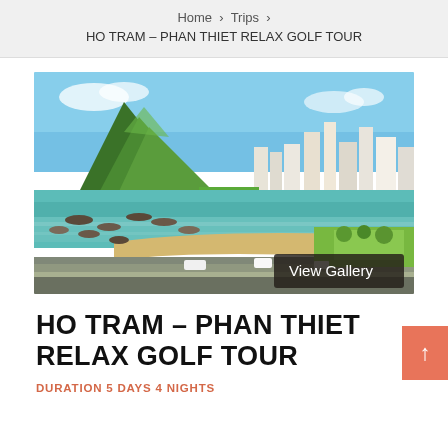Home › Trips › HO TRAM – PHAN THIET RELAX GOLF TOUR
[Figure (photo): Aerial view of a coastal city with a large green mountain, a curved sandy beach, fishing boats in turquoise water, a seaside promenade with vehicles, and city buildings — HO TRAM / PHAN THIET area, Vietnam. A 'View Gallery' button overlay is visible in the bottom-right corner.]
HO TRAM – PHAN THIET RELAX GOLF TOUR
DURATION 5 Days 4 Nights